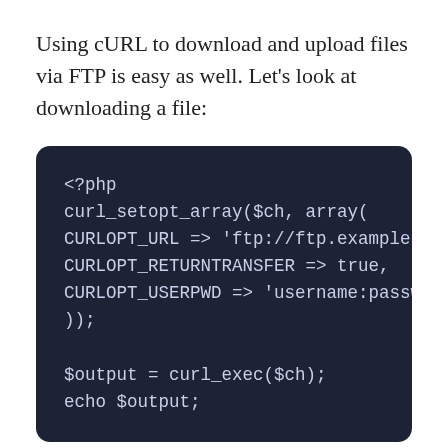Using cURL to download and upload files via FTP is easy as well. Let's look at downloading a file:
[Figure (screenshot): PHP code block showing curl_setopt_array with CURLOPT_URL, CURLOPT_RETURNTRANSFER, CURLOPT_USERPWD options, then $output = curl_exec($ch); echo $output;]
Note that there aren't many public FTP servers that allow anonymous uploads and downloads for security reasons — the URLs and credentials